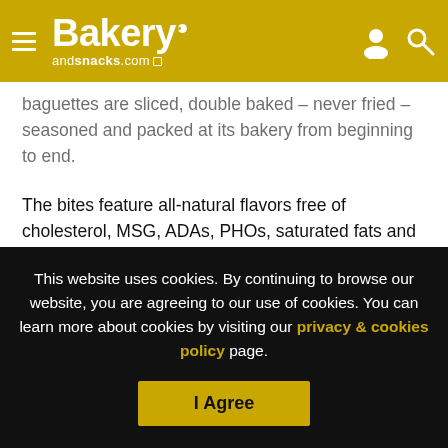Bakery andsnacks.com
baguettes are sliced, double baked – never fried – seasoned and packed at its bakery from beginning to end.
The bites feature all-natural flavors free of cholesterol, MSG, ADAs, PHOs, saturated fats and trans fat free. All Sabine's Collections products – including Sabine's Collections Crisps, available in Original with Olive Oil & Sea Salt, Garlic-Chives & Parsley, Rosemary and Eight Grain – are Kosher and vegan certified.
This website uses cookies. By continuing to browse our website, you are agreeing to our use of cookies. You can learn more about cookies by visiting our privacy & cookies policy page.
I Agree